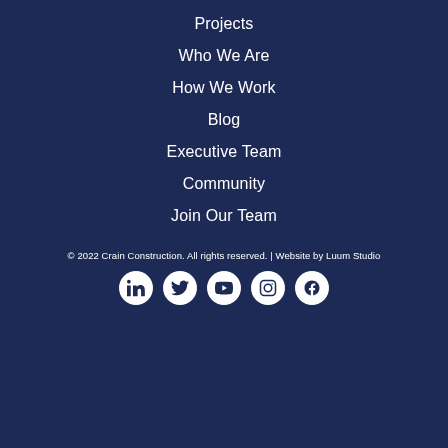Projects
Who We Are
How We Work
Blog
Executive Team
Community
Join Our Team
© 2022 Crain Construction. All rights reserved. | Website by Luum Studio